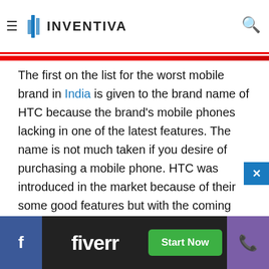Inventiva
The first on the list for the worst mobile brand in India is given to the brand name of HTC because the brand's mobile phones lacking in one of the latest features. The name is not much taken if you desire of purchasing a mobile phone. HTC was introduced in the market because of their some good features but with the coming age, it did not qualify the qualities of the new technologies.
[Figure (screenshot): Fiverr advertisement banner with Start Now button, flanked by Facebook and phone call buttons]